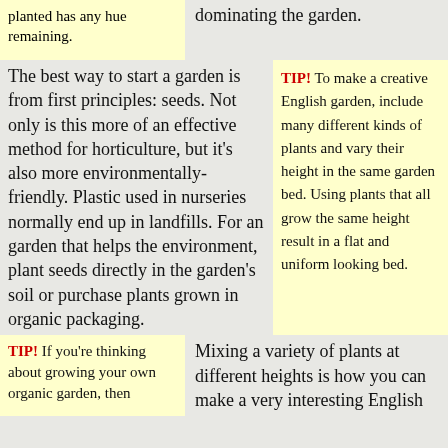planted has any hue remaining.
dominating the garden.
The best way to start a garden is from first principles: seeds. Not only is this more of an effective method for horticulture, but it's also more environmentally-friendly. Plastic used in nurseries normally end up in landfills. For an garden that helps the environment, plant seeds directly in the garden's soil or purchase plants grown in organic packaging.
TIP! To make a creative English garden, include many different kinds of plants and vary their height in the same garden bed. Using plants that all grow the same height result in a flat and uniform looking bed.
TIP! If you're thinking about growing your own organic garden, then
Mixing a variety of plants at different heights is how you can make a very interesting English